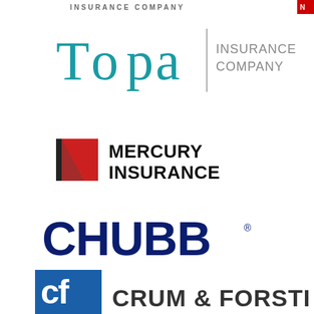[Figure (logo): Partial top of page showing 'INSURANCE COMPANY' text in gray uppercase with red element on right edge]
[Figure (logo): Topa Insurance Company logo: teal/turquoise 'Topa' wordmark with vertical gray divider bar and 'INSURANCE COMPANY' text in gray]
[Figure (logo): Mercury Insurance logo: red triangle arrow shape on left with bold black 'MERCURY INSURANCE' text]
[Figure (logo): Chubb logo: dark navy blue 'CHUBB' text with registered trademark symbol]
[Figure (logo): Partial Crum & Forster logo: blue square with white CF lettermark icon, partial company name text below (cropped at page bottom)]